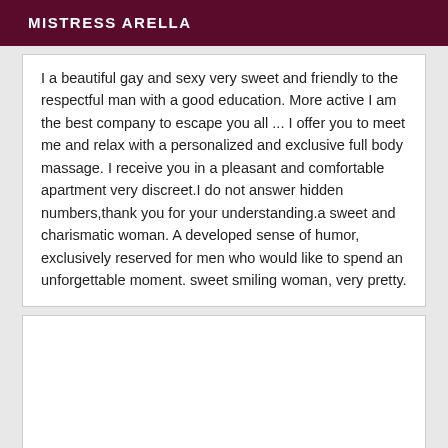MISTRESS ARELLA
I a beautiful gay and sexy very sweet and friendly to the respectful man with a good education. More active I am the best company to escape you all ... I offer you to meet me and relax with a personalized and exclusive full body massage. I receive you in a pleasant and comfortable apartment very discreet.I do not answer hidden numbers,thank you for your understanding.a sweet and charismatic woman. A developed sense of humor, exclusively reserved for men who would like to spend an unforgettable moment. sweet smiling woman, very pretty.
[Figure (other): Empty white card/box below the text content]